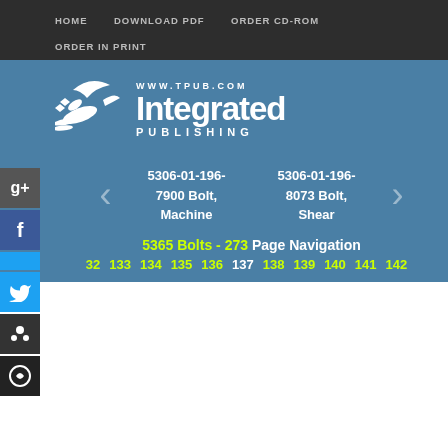HOME   DOWNLOAD PDF   ORDER CD-ROM   ORDER IN PRINT
[Figure (logo): Integrated Publishing logo with bird graphic, www.tpub.com, and 'Integrated Publishing' text on blue background]
5306-01-196-7900 Bolt, Machine
5306-01-196-8073 Bolt, Shear
5365 Bolts - 273 Page Navigation
132 133 134 135 136 137 138 139 140 141 142